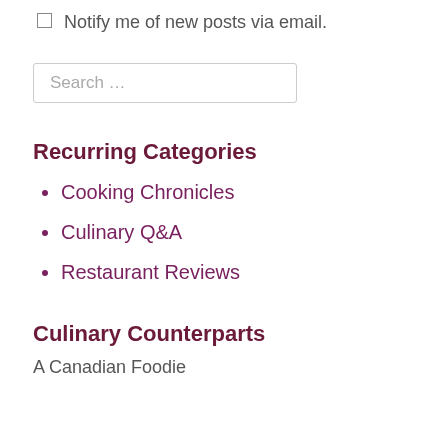Notify me of new posts via email.
Search …
Recurring Categories
Cooking Chronicles
Culinary Q&A
Restaurant Reviews
Culinary Counterparts
A Canadian Foodie